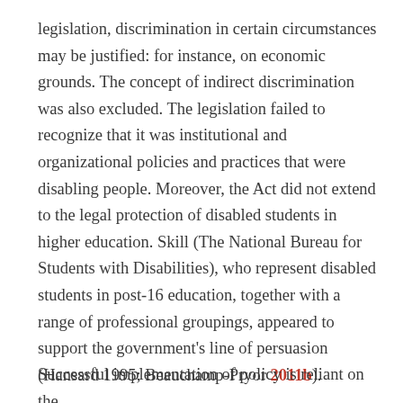legislation, discrimination in certain circumstances may be justified: for instance, on economic grounds. The concept of indirect discrimination was also excluded. The legislation failed to recognize that it was institutional and organizational policies and practices that were disabling people. Moreover, the Act did not extend to the legal protection of disabled students in higher education. Skill (The National Bureau for Students with Disabilities), who represent disabled students in post-16 education, together with a range of professional groupings, appeared to support the government's line of persuasion (Hansard 1995; Beauchamp-Pryor 2011b).
Successful implementation of policy is reliant on the